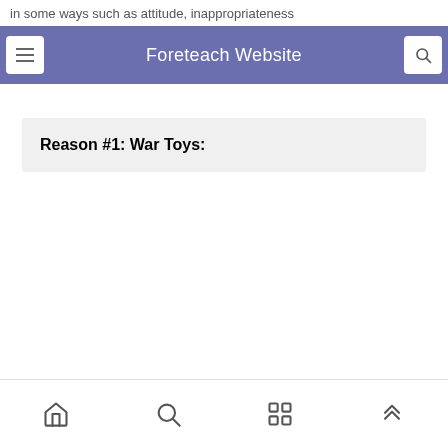in some ways such as attitude, inappropriateness and eating disorders.
Foreteach Website
Reason #1: War Toys:
bottom navigation bar with home, search, grid, and up-arrow icons